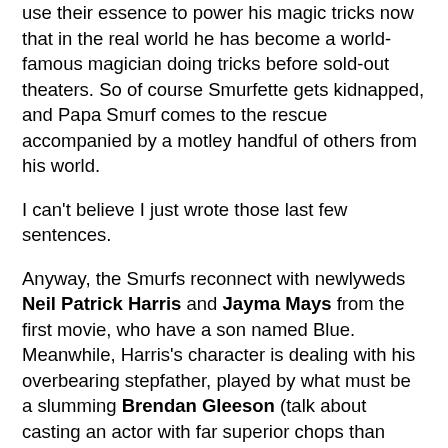use their essence to power his magic tricks now that in the real world he has become a world-famous magician doing tricks before sold-out theaters. So of course Smurfette gets kidnapped, and Papa Smurf comes to the rescue accompanied by a motley handful of others from his world.
I can't believe I just wrote those last few sentences.
Anyway, the Smurfs reconnect with newlyweds Neil Patrick Harris and Jayma Mays from the first movie, who have a son named Blue. Meanwhile, Harris's character is dealing with his overbearing stepfather, played by what must be a slumming Brendan Gleeson (talk about casting an actor with far superior chops than what the role requires). The humans help the Smurfs with their mission, fireworks go off, Gargamel gets hit in the crotch, product placement is placed,